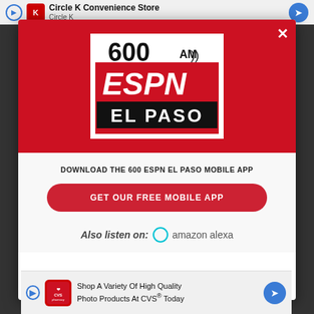[Figure (screenshot): Top advertisement banner showing Circle K Convenience Store ad with navigation arrows]
[Figure (logo): 600 AM ESPN El Paso radio station logo on red background modal popup with close button]
DOWNLOAD THE 600 ESPN EL PASO MOBILE APP
GET OUR FREE MOBILE APP
Also listen on:  amazon alexa
[Figure (screenshot): Bottom advertisement banner showing CVS Pharmacy Shop A Variety Of High Quality Photo Products At CVS Today ad]